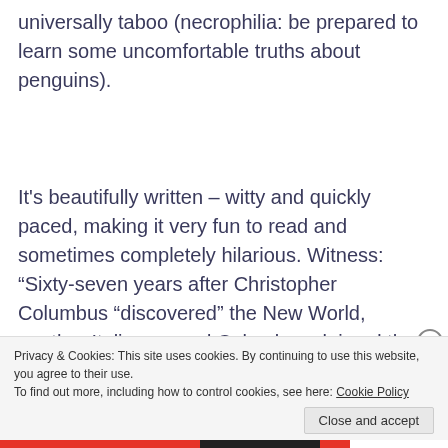universally taboo (necrophilia: be prepared to learn some uncomfortable truths about penguins).
It's beautifully written – witty and quickly paced, making it very fun to read and sometimes completely hilarious. Witness: “Sixty-seven years after Christopher Columbus “discovered” the New World, another Italian named Columbus claimed the discovery of a territory far smaller, but no less
Privacy & Cookies: This site uses cookies. By continuing to use this website, you agree to their use.
To find out more, including how to control cookies, see here: Cookie Policy
Close and accept